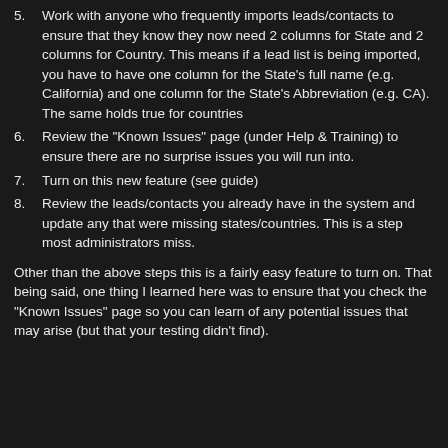5. Work with anyone who frequently imports leads/contacts to ensure that they know they now need 2 columns for State and 2 columns for Country.  This means if a lead list is being imported, you have to have one column for the State's full name (e.g. California) and one column for the State's Abbreviation (e.g. CA).  The same holds true for countries
6. Review the "Known Issues" page (under Help & Training) to ensure there are no surprise issues you will run into.
7. Turn on this new feature (see guide)
8. Review the leads/contacts you already have in the system and update any that were missing states/countries.  This is a step most administrators miss.
Other than the above steps this is a fairly easy feature to turn on.  That being said, one thing I learned here was to ensure that you check the "Known Issues" page so you can learn of any potential issues that may arise (but that your testing didn't find).